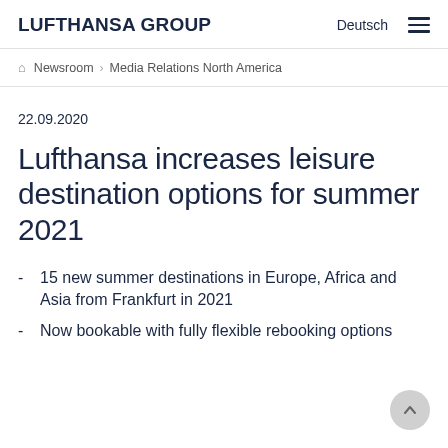LUFTHANSA GROUP | Deutsch
Newsroom > Media Relations North America
22.09.2020
Lufthansa increases leisure destination options for summer 2021
15 new summer destinations in Europe, Africa and Asia from Frankfurt in 2021
Now bookable with fully flexible rebooking options